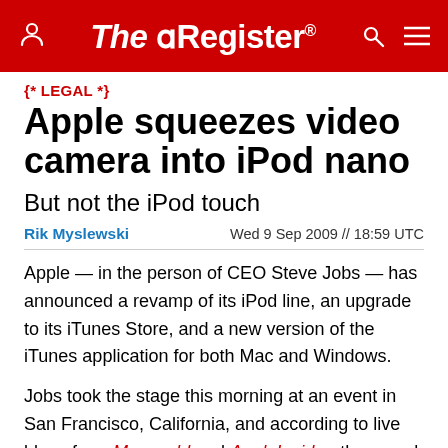The Register
{* LEGAL *}
Apple squeezes video camera into iPod nano
But not the iPod touch
Rik Myslewski   Wed 9 Sep 2009 // 18:59 UTC
Apple — in the person of CEO Steve Jobs — has announced a revamp of its iPod line, an upgrade to its iTunes Store, and a new version of the iTunes application for both Mac and Windows.
Jobs took the stage this morning at an event in San Francisco, California, and according to live blogs from Macworld and AppleInsider, the crowd went ballistic